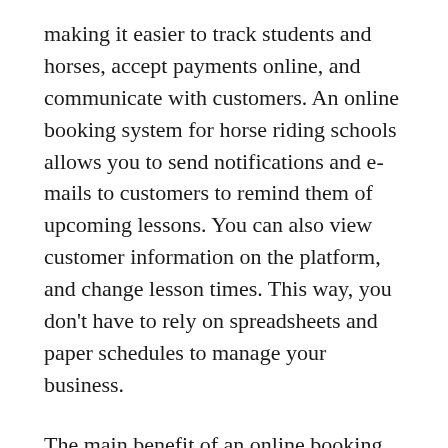making it easier to track students and horses, accept payments online, and communicate with customers. An online booking system for horse riding schools allows you to send notifications and e-mails to customers to remind them of upcoming lessons. You can also view customer information on the platform, and change lesson times. This way, you don't have to rely on spreadsheets and paper schedules to manage your business.
The main benefit of an online booking system for horse riding schools is its ease of use. It allows customers to pay online, see detailed programmes, and schedule lessons and more. Customers can also see the horse they are riding before the lesson. All of this increases customer satisfaction, and provides you with invaluable